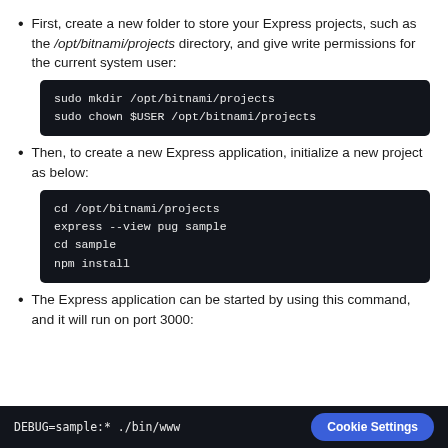First, create a new folder to store your Express projects, such as the /opt/bitnami/projects directory, and give write permissions for the current system user:
sudo mkdir /opt/bitnami/projects
sudo chown $USER /opt/bitnami/projects
Then, to create a new Express application, initialize a new project as below:
cd /opt/bitnami/projects
express --view pug sample
cd sample
npm install
The Express application can be started by using this command, and it will run on port 3000:
DEBUG=sample:* ./bin/www